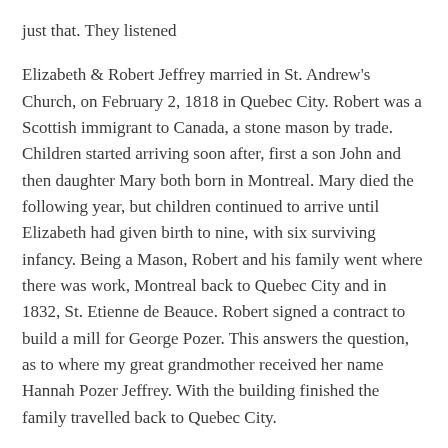just that. They listened
Elizabeth & Robert Jeffrey married in St. Andrew's Church, on February 2, 1818 in Quebec City. Robert was a Scottish immigrant to Canada, a stone mason by trade. Children started arriving soon after, first a son John and then daughter Mary both born in Montreal. Mary died the following year, but children continued to arrive until Elizabeth had given birth to nine, with six surviving infancy. Being a Mason, Robert and his family went where there was work, Montreal back to Quebec City and in 1832, St. Etienne de Beauce. Robert signed a contract to build a mill for George Pozer. This answers the question, as to where my great grandmother received her name Hannah Pozer Jeffrey. With the building finished the family travelled back to Quebec City.
The evening of March 19th, 1840 was the last straw for Elizabeth. She was determined she had to do something and